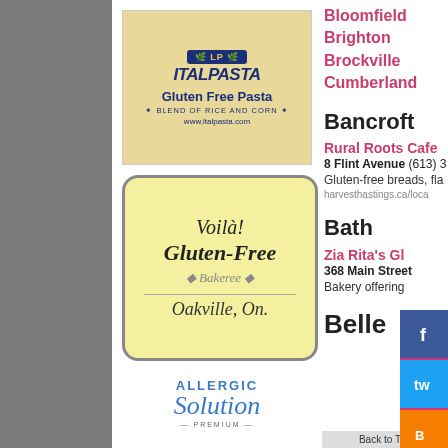[Figure (logo): Italpasta Gluten Free Pasta logo - blend of rice and corn, www.italpasta.com]
[Figure (logo): Voila! Gluten-Free Bakeree, Oakville, On. logo on yellow background]
[Figure (logo): Allergic Solution - Premium product logo]
Bloomfield
Brighton
Brockville
Cumberland
Bancroft
Rural Roots Cafe
8 Flint Avenue (613) 3
Gluten-free breads, fla
harvesthastings.ca/loca
Bath
Zia Rita's Gl
368 Main Street
Bakery offering
Belle
Back to Top